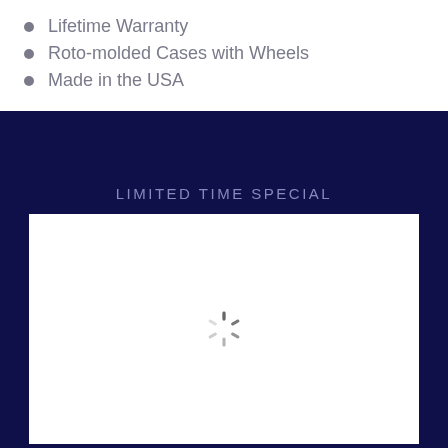Lifetime Warranty
Roto-molded Cases with Wheels
Made in the USA
LIMITED TIME SPECIAL
[Figure (other): A white box with a loading spinner (circular dashed spinner icon) centered inside it, set against a dark navy blue background.]